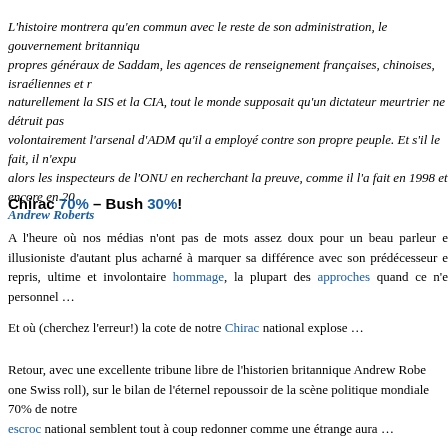L'histoire montrera qu'en commun avec le reste de son administration, le gouvernement britanniqu propres généraux de Saddam, les agences de renseignement françaises, chinoises, israéliennes et r naturellement la SIS et la CIA, tout le monde supposait qu'un dictateur meurtrier ne détruit pas volontairement l'arsenal d'ADM qu'il a employé contre son propre peuple. Et s'il le fait, il n'expu alors les inspecteurs de l'ONU en recherchant la preuve, comme il l'a fait en 1998 et encore en 20
Andrew Roberts
Chirac 70% – Bush 30%!
A l'heure où nos médias n'ont pas de mots assez doux pour un beau parleur e illusioniste d'autant plus acharné à marquer sa différence avec son prédécesseur e repris, ultime et involontaire hommage, la plupart des approches quand ce n'e personnel …
Et où (cherchez l'erreur!) la cote de notre Chirac national explose …
Retour, avec une excellente tribune libre de l'historien britannique Andrew Robe one Swiss roll), sur le bilan de l'éternel repoussoir de la scène politique mondiale 70% de notre escroc national semblent tout à coup redonner comme une étrange aura …